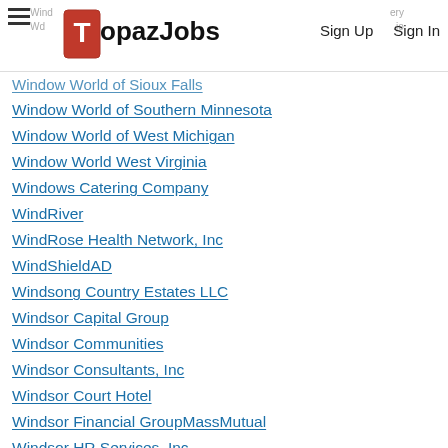TopazJobs — Sign Up | Sign In
Window World of Sioux Falls
Window World of Southern Minnesota
Window World of West Michigan
Window World West Virginia
Windows Catering Company
WindRiver
WindRose Health Network, Inc
WindShieldAD
Windsong Country Estates LLC
Windsor Capital Group
Windsor Communities
Windsor Consultants, Inc
Windsor Court Hotel
Windsor Financial GroupMassMutual
Windsor HR Services, Inc
Windsor Lane Health Care
WINDSOR LOCKS OIL CO
Windsor Medical Center
Windsor Property Management
Windsor Resources
Windsor... (partial)